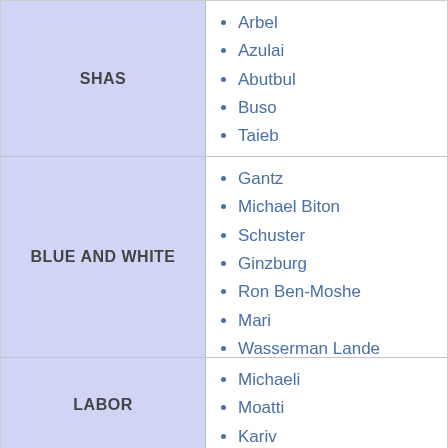| Party | Members |
| --- | --- |
| SHAS | Arbel, Azulai, Abutbul, Buso, Taieb |
| BLUE AND WHITE | Gantz, Michael Biton, Schuster, Ginzburg, Ron Ben-Moshe, Mari, Wasserman Lande, Tal |
| LABOR | Michaeli, Moatti, Kariv, Ravten |